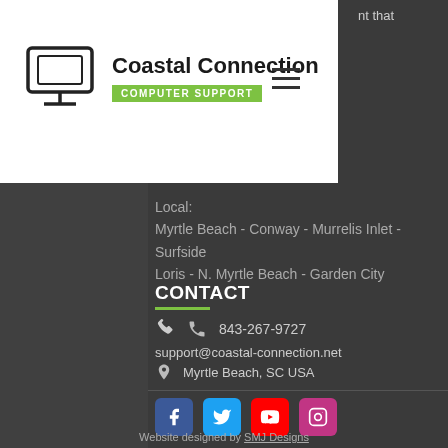[Figure (logo): Coastal Connection Computer Support logo with monitor icon]
Myrtle Beach - Conway - Murrelis Inlet - Surfside
Loris - N. Myrtle Beach - Garden City
CONTACT
843-267-9727
support@coastal-connection.net
Myrtle Beach, SC USA
[Figure (logo): Facebook, Twitter, YouTube, Instagram social media icons]
Website designed by SMJ Designs